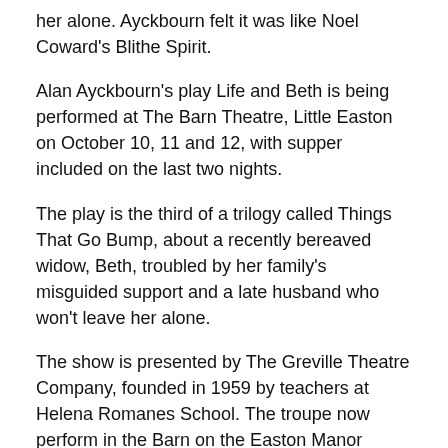her alone. Ayckbourn felt it was like Noel Coward's Blithe Spirit.
Alan Ayckbourn's play Life and Beth is being performed at The Barn Theatre, Little Easton on October 10, 11 and 12, with supper included on the last two nights.
The play is the third of a trilogy called Things That Go Bump, about a recently bereaved widow, Beth, troubled by her family's misguided support and a late husband who won't leave her alone.
The show is presented by The Greville Theatre Company, founded in 1959 by teachers at Helena Romanes School. The troupe now perform in the Barn on the Easton Manor Estate.
Tickets are £12 for the 8pm show on Thursday, October 10, and £27 to include a two-course supper on